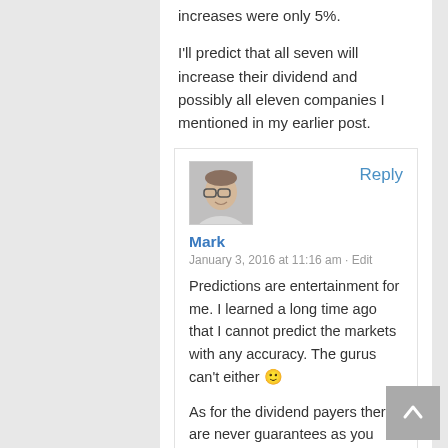increases were only 5%.
I'll predict that all seven will increase their dividend and possibly all eleven companies I mentioned in my earlier post.
[Figure (photo): Avatar photo of commenter Mark — a man with glasses and short hair]
Reply
Mark
January 3, 2016 at 11:16 am · Edit
Predictions are entertainment for me. I learned a long time ago that I cannot predict the markets with any accuracy. The gurus can't either 🙂
As for the dividend payers there are never guarantees as you